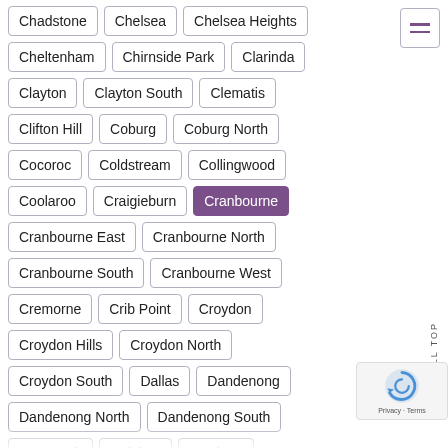Chadstone
Chelsea
Chelsea Heights
Cheltenham
Chirnside Park
Clarinda
Clayton
Clayton South
Clematis
Clifton Hill
Coburg
Coburg North
Cocoroc
Coldstream
Collingwood
Coolaroo
Craigieburn
Cranbourne
Cranbourne East
Cranbourne North
Cranbourne South
Cranbourne West
Cremorne
Crib Point
Croydon
Croydon Hills
Croydon North
Croydon South
Dallas
Dandenong
Dandenong North
Dandenong South
Deer Park
Delahey
Derrimut